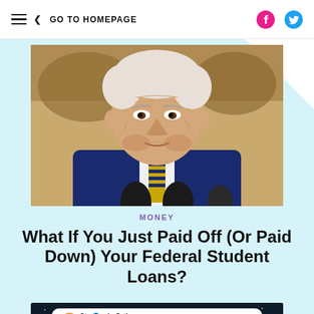GO TO HOMEPAGE
[Figure (photo): Photograph of Joe Biden speaking at a podium with microphones, wearing a blue suit and striped tie, in front of a decorative mural background.]
MONEY
What If You Just Paid Off (Or Paid Down) Your Federal Student Loans?
[Figure (screenshot): Screenshot of a tweet by Stephanie Ortiz (@Six_Pack_Mom) with text beginning: *watching husband sleep*]